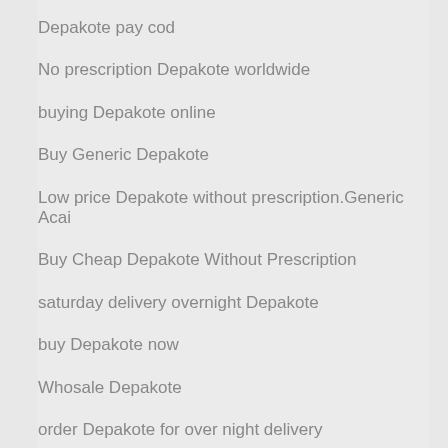Depakote pay cod
No prescription Depakote worldwide
buying Depakote online
Buy Generic Depakote
Low price Depakote without prescription.Generic Acai
Buy Cheap Depakote Without Prescription
saturday delivery overnight Depakote
buy Depakote now
Whosale Depakote
order Depakote for over night delivery
cheap fedex Depakote